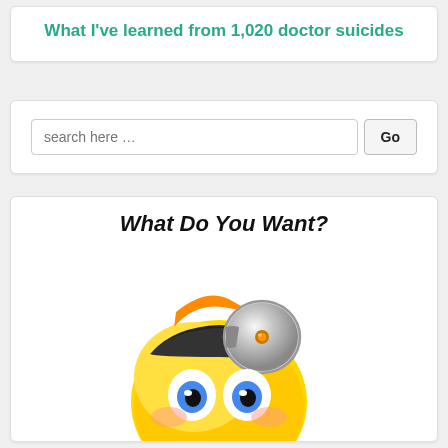What I've learned from 1,020 doctor suicides
search here …
What Do You Want?
[Figure (illustration): Cartoon emoji face with a doctor's headlamp/stethoscope mirror on forehead, large blue eyes, yellow round face, appearing surprised or curious, with rosy cheeks]